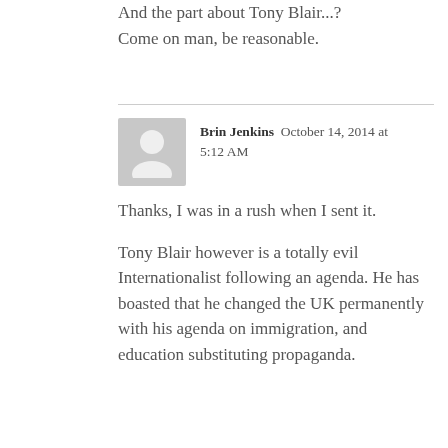And the part about Tony Blair...? Come on man, be reasonable.
Brin Jenkins  October 14, 2014 at 5:12 AM
Thanks, I was in a rush when I sent it.
Tony Blair however is a totally evil Internationalist following an agenda. He has boasted that he changed the UK permanently with his agenda on immigration, and education substituting propaganda.